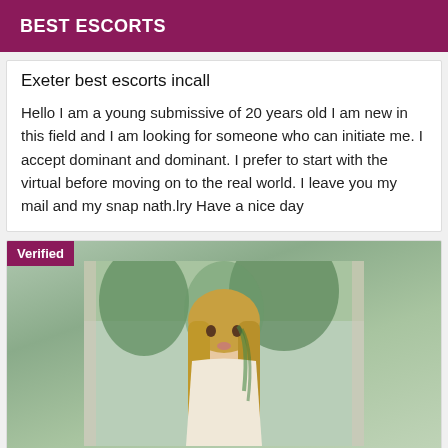BEST ESCORTS
Exeter best escorts incall
Hello I am a young submissive of 20 years old I am new in this field and I am looking for someone who can initiate me. I accept dominant and dominant. I prefer to start with the virtual before moving on to the real world. I leave you my mail and my snap nath.lry Have a nice day
[Figure (photo): Photo of a young woman with long blonde and green highlighted hair, wearing a light colored top, photographed in front of a window with trees visible in the background. A 'Verified' badge appears in the top-left corner of the image.]